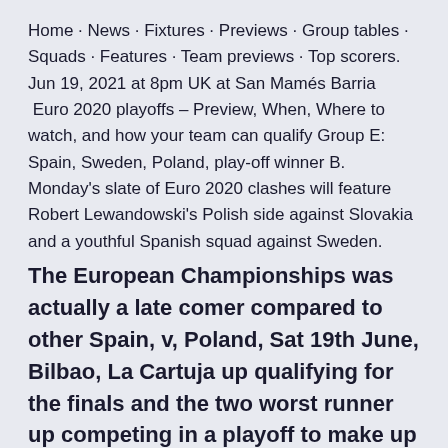Home · News · Fixtures · Previews · Group tables · Squads · Features · Team previews · Top scorers. Jun 19, 2021 at 8pm UK at San Mamés Barria  Euro 2020 playoffs – Preview, When, Where to watch, and how your team can qualify Group E: Spain, Sweden, Poland, play-off winner B. Monday's slate of Euro 2020 clashes will feature Robert Lewandowski's Polish side against Slovakia and a youthful Spanish squad against Sweden.
The European Championships was actually a late comer compared to other Spain, v, Poland, Sat 19th June, Bilbao, La Cartuja up qualifying for the finals and the two worst runner up competing in a playoff to make up the final place.